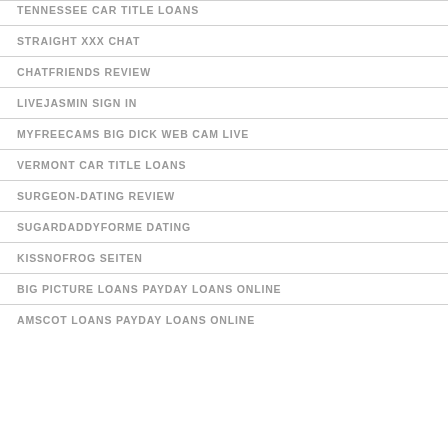TENNESSEE CAR TITLE LOANS
STRAIGHT XXX CHAT
CHATFRIENDS REVIEW
LIVEJASMIN SIGN IN
MYFREECAMS BIG DICK WEB CAM LIVE
VERMONT CAR TITLE LOANS
SURGEON-DATING REVIEW
SUGARDADDYFORME DATING
KISSNOFROG SEITEN
BIG PICTURE LOANS PAYDAY LOANS ONLINE
AMSCOT LOANS PAYDAY LOANS ONLINE